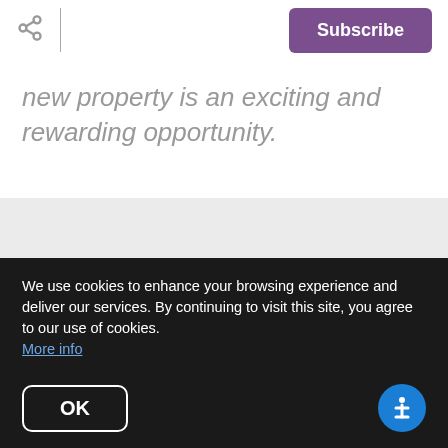Share | Subscribe
new property is an exciting and rewarding opportunity.
Do you have questions
We use cookies to enhance your browsing experience and deliver our services. By continuing to visit this site, you agree to our use of cookies. More info
OK